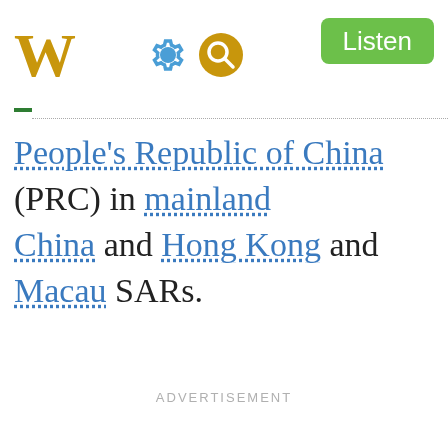W  [settings icon] [search icon]  Listen
People's Republic of China (PRC) in mainland China and Hong Kong and Macau SARs.
ADVERTISEMENT